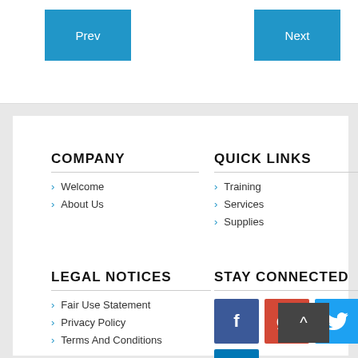Prev
Next
COMPANY
Welcome
About Us
QUICK LINKS
Training
Services
Supplies
LEGAL NOTICES
Fair Use Statement
Privacy Policy
Terms And Conditions
STAY CONNECTED
[Figure (infographic): Social media icons: Facebook (blue), Google+ (red/orange), Twitter (light blue), LinkedIn (dark blue)]